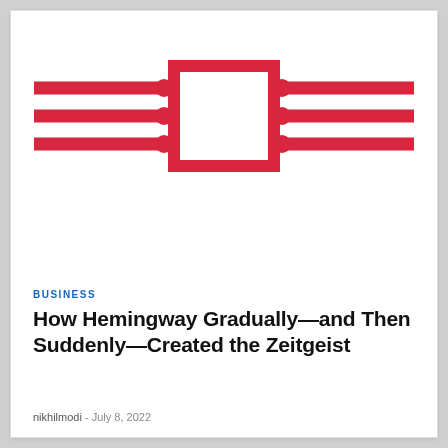[Figure (logo): Abstract icon of three horizontal red bars/rods on the left, a red-bordered square in the center, and three horizontal red bars/rods on the right, resembling a stylized logo or graphic mark against a white background.]
BUSINESS
How Hemingway Gradually—and Then Suddenly—Created the Zeitgeist
nikhilmodi  -  July 8, 2022